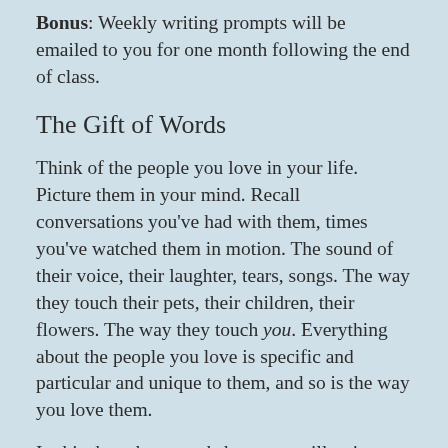Bonus: Weekly writing prompts will be emailed to you for one month following the end of class.
The Gift of Words
Think of the people you love in your life. Picture them in your mind. Recall conversations you've had with them, times you've watched them in motion. The sound of their voice, their laughter, tears, songs. The way they touch their pets, their children, their flowers. The way they touch you. Everything about the people you love is specific and particular and unique to them, and so is the way you love them.
In this three-hour workshop, you will write three gifts of words to the people you love. Each will be different, each will be a one of a kind gift